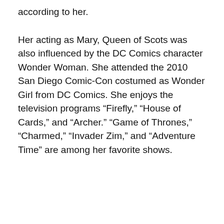according to her.
Her acting as Mary, Queen of Scots was also influenced by the DC Comics character Wonder Woman. She attended the 2010 San Diego Comic-Con costumed as Wonder Girl from DC Comics. She enjoys the television programs “Firefly,” “House of Cards,” and “Archer.” “Game of Thrones,” “Charmed,” “Invader Zim,” and “Adventure Time” are among her favorite shows.